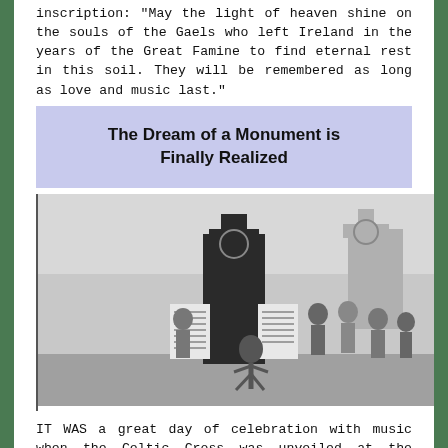inscription: "May the light of heaven shine on the souls of the Gaels who left Ireland in the years of the Great Famine to find eternal rest in this soil. They will be remembered as long as love and music last."
The Dream of a Monument is Finally Realized
[Figure (photo): Black and white photograph of people gathered around a Celtic Cross monument at Martindale Pioneer Cemetery in 1982. A person is dancing in the foreground, others stand around a large dark stone monument with a cross and plaques listing names.]
IT WAS a great day of celebration with music when the Celtic Cross was unveiled at the Martindale Pioneer Cemetery in 1982. Janet Evan is pictured above step dancing at the